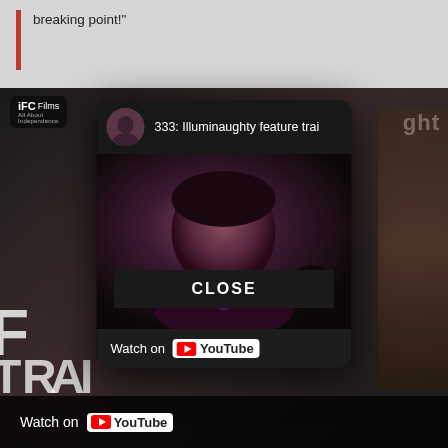breaking point!"
[Figure (screenshot): A YouTube video embed/modal overlay showing a video titled '333: Illuminaughty feature trai...' with a person's face visible in the video thumbnail. The modal has a dark background, a circular avatar in the header, a play button, and a 'Watch on YouTube' bar at the bottom. Behind the modal is a background video player also showing 'Watch on YouTube' and large text letters. A 'CLOSE' button appears below the modal.]